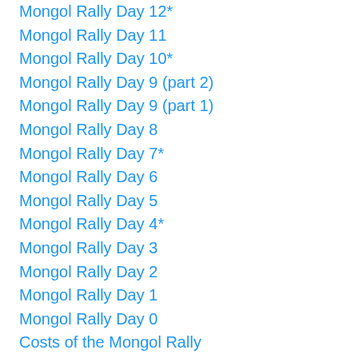Mongol Rally Day 12*
Mongol Rally Day 11
Mongol Rally Day 10*
Mongol Rally Day 9 (part 2)
Mongol Rally Day 9 (part 1)
Mongol Rally Day 8
Mongol Rally Day 7*
Mongol Rally Day 6
Mongol Rally Day 5
Mongol Rally Day 4*
Mongol Rally Day 3
Mongol Rally Day 2
Mongol Rally Day 1
Mongol Rally Day 0
Costs of the Mongol Rally
Useful Resources for Mongol Rally
Border Crossings in Central Asia
CarStickers.com Sponsors Team Hippo Mongol Rally!!!
Buying a car in U.K. as a foreigner
Vaccines for Mongol Rally
Fellow 2014 Mongol Rally Teams
Donate to our cause- Cool Earth